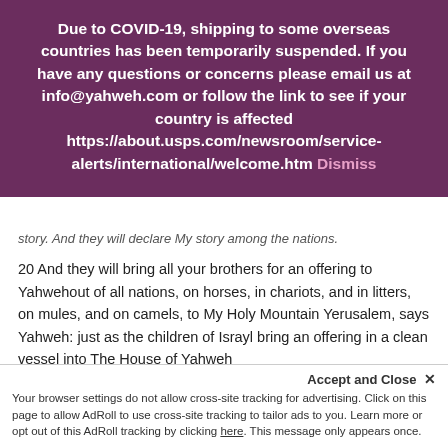Due to COVID-19, shipping to some overseas countries has been temporarily suspended. If you have any questions or concerns please email us at info@yahweh.com or follow the link to see if your country is affected https://about.usps.com/newsroom/service-alerts/international/welcome.htm Dismiss
story. And they will declare My story among the nations.
20 And they will bring all your brothers for an offering to Yahwehout of all nations, on horses, in chariots, and in litters, on mules, and on camels, to My Holy Mountain Yerusalem, says Yahweh: just as the children of Israyl bring an offering in a clean vessel into The House of Yahweh
21 And I will also take of them for Priests and for workers, says Yahweh.
The phrase “My Holy Mountain Yerusalem” in Isayah 66:20 has been mistranslated. The word Holy from The Hebrew-Aramaic-English
Accept and Close × Your browser settings do not allow cross-site tracking for advertising. Click on this page to allow AdRoll to use cross-site tracking to tailor ads to you. Learn more or opt out of this AdRoll tracking by clicking here. This message only appears once.